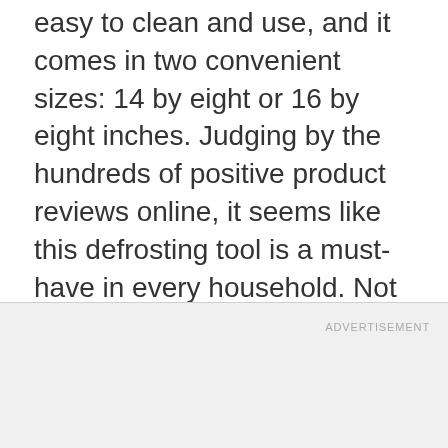easy to clean and use, and it comes in two convenient sizes: 14 by eight or 16 by eight inches. Judging by the hundreds of positive product reviews online, it seems like this defrosting tool is a must-have in every household. Not only will it save you time in the kitchen, but it will also help you when you have to plan last-minute meals.
ADVERTISEMENT